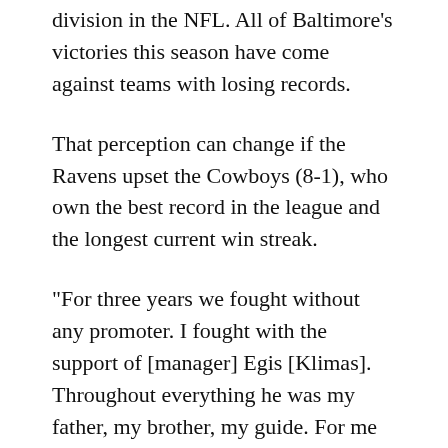division in the NFL. All of Baltimore's victories this season have come against teams with losing records.
That perception can change if the Ravens upset the Cowboys (8-1), who own the best record in the league and the longest current win streak.
“For three years we fought without any promoter. I fought with the support of [manager] Egis [Klimas]. Throughout everything he was my father, my brother, my guide. For me he was everything.”
Avery said the players usually leave the designs up to him. “They might specify what color they